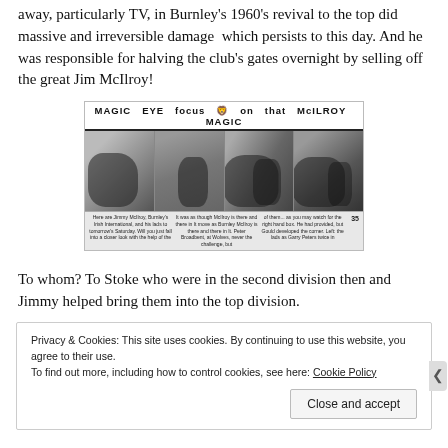away, particularly TV, in Burnley's 1960's revival to the top did massive and irreversible damage  which persists to this day. And he was responsible for halving the club's gates overnight by selling off the great Jim McIlroy!
[Figure (photo): Newspaper clipping with headline 'MAGIC EYE focus on that McILROY MAGIC' showing four black-and-white action photos of football players and caption text at the bottom, with page number 35.]
To whom? To Stoke who were in the second division then and Jimmy helped bring them into the top division.
Privacy & Cookies: This site uses cookies. By continuing to use this website, you agree to their use.
To find out more, including how to control cookies, see here: Cookie Policy

Close and accept